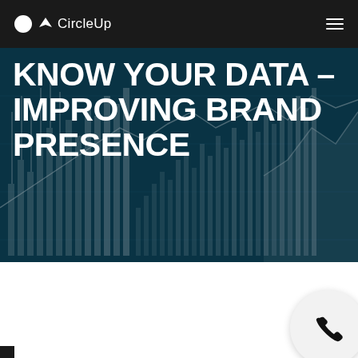CircleUp
KNOW YOUR DATA – IMPROVING BRAND PRESENCE
[Figure (infographic): Dark teal financial data visualization background with bar charts, line charts, and candlestick charts overlaid with white text title 'KNOW YOUR DATA – IMPROVING BRAND PRESENCE']
[Figure (illustration): Phone call icon button in circular grey button at bottom right of page]